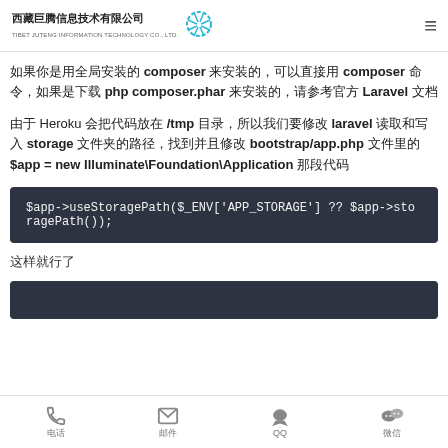西藏巨腾信息技术有限公司 TIBET JUTENG INFORMATION TECHNOLOGY CO., LTD.
如果你是用全局安装的 composer 来安装的，可以直接用 composer 命令，如果是下载 php composer.phar 来安装的，请参考官方 Laravel 文档
由于 Heroku 会把代码放在 /tmp 目录，所以我们要修改 laravel 读取和写入 storage 文件夹的路径，找到并且修改 bootstrap/app.php 文件里的 $app = new Illuminate\Foundation\Application 那段代码
[Figure (screenshot): Code block showing: $app->useStoragePath($_ENV['APP_STORAGE'] ?? $app->storagePath());]
这样就行了
电话  邮件  QQ  微信